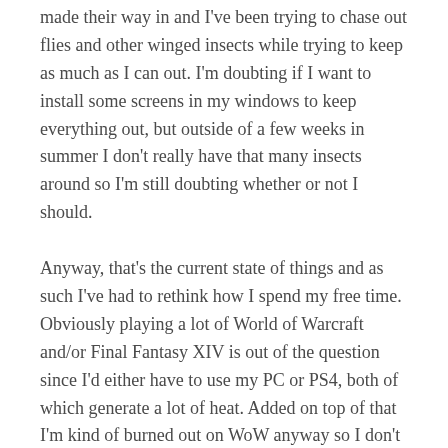made their way in and I've been trying to chase out flies and other winged insects while trying to keep as much as I can out. I'm doubting if I want to install some screens in my windows to keep everything out, but outside of a few weeks in summer I don't really have that many insects around so I'm still doubting whether or not I should.
Anyway, that's the current state of things and as such I've had to rethink how I spend my free time. Obviously playing a lot of World of Warcraft and/or Final Fantasy XIV is out of the question since I'd either have to use my PC or PS4, both of which generate a lot of heat. Added on top of that I'm kind of burned out on WoW anyway so I don't really feel like logging more than two times a week to keep up with emissaries on my Warrior. FFXIV is releasing patch 5.3 next week though so I may jump into that, once temperatures have come down again (hopefully) at the end of the week.
So instead of playing MMO's I've been reading a lot and playing on my Switch. Book wise I'm working my way through the Rain Wilds Chronicles by Robin Hobb and I'm at the final book now.